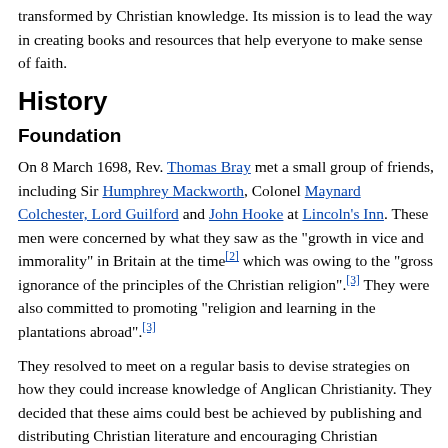transformed by Christian knowledge. Its mission is to lead the way in creating books and resources that help everyone to make sense of faith.
History
Foundation
On 8 March 1698, Rev. Thomas Bray met a small group of friends, including Sir Humphrey Mackworth, Colonel Maynard Colchester, Lord Guilford and John Hooke at Lincoln's Inn. These men were concerned by what they saw as the "growth in vice and immorality" in Britain at the time[2] which was owing to the "gross ignorance of the principles of the Christian religion".[3] They were also committed to promoting "religion and learning in the plantations abroad".[3]
They resolved to meet on a regular basis to devise strategies on how they could increase knowledge of Anglican Christianity. They decided that these aims could best be achieved by publishing and distributing Christian literature and encouraging Christian education at all levels.
These foundational aims and methods continue to direct the